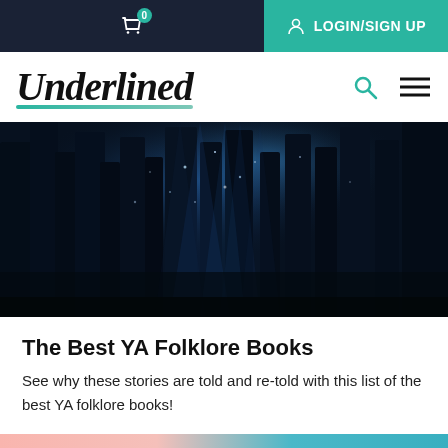0  LOGIN/SIGN UP
Underlined
[Figure (photo): Dark mystical forest with blue-toned lighting and light rays streaming through tall trees]
The Best YA Folklore Books
See why these stories are told and re-told with this list of the best YA folklore books!
PUT THE BREAK